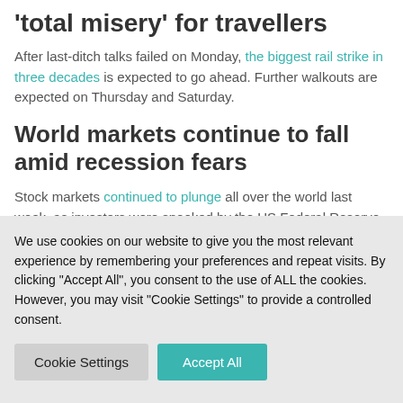'total misery' for travellers
After last-ditch talks failed on Monday, the biggest rail strike in three decades is expected to go ahead. Further walkouts are expected on Thursday and Saturday.
World markets continue to fall amid recession fears
Stock markets continued to plunge all over the world last week, as investors were spooked by the US Federal Reserve raising interest rates again.
We use cookies on our website to give you the most relevant experience by remembering your preferences and repeat visits. By clicking "Accept All", you consent to the use of ALL the cookies. However, you may visit "Cookie Settings" to provide a controlled consent.